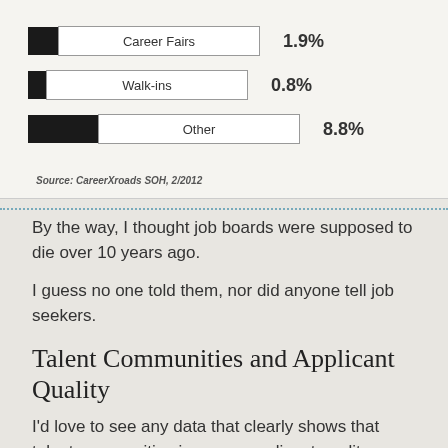[Figure (bar-chart): Hiring sources]
Source: CareerXroads SOH, 2/2012
By the way, I thought job boards were supposed to die over 10 years ago.
I guess no one told them, nor did anyone tell job seekers.
Talent Communities and Applicant Quality
I'd love to see any data that clearly shows that talent communities increase applicant quality.